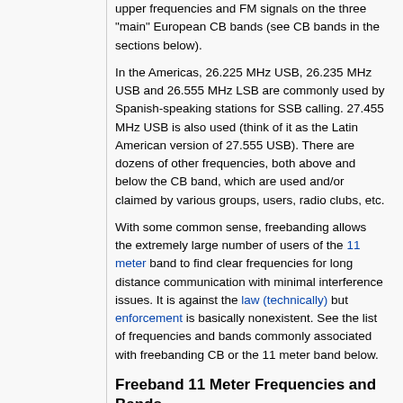upper frequencies and FM signals on the three "main" European CB bands (see CB bands in the sections below).
In the Americas, 26.225 MHz USB, 26.235 MHz USB and 26.555 MHz LSB are commonly used by Spanish-speaking stations for SSB calling. 27.455 MHz USB is also used (think of it as the Latin American version of 27.555 USB). There are dozens of other frequencies, both above and below the CB band, which are used and/or claimed by various groups, users, radio clubs, etc.
With some common sense, freebanding allows the extremely large number of users of the 11 meter band to find clear frequencies for long distance communication with minimal interference issues. It is against the law (technically) but enforcement is basically nonexistent. See the list of frequencies and bands commonly associated with freebanding CB or the 11 meter band below.
Freeband 11 Meter Frequencies and Bands